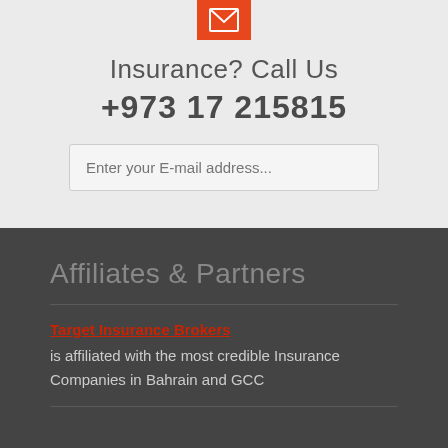[Figure (illustration): Orange square icon with a white envelope/mail symbol inside]
Insurance? Call Us
+973 17 215815
Enter your E-mail address...
Affiliates & Partners
Target Insurance Brokers
is affiliated with the most credible Insurance Companies in Bahrain and GCC